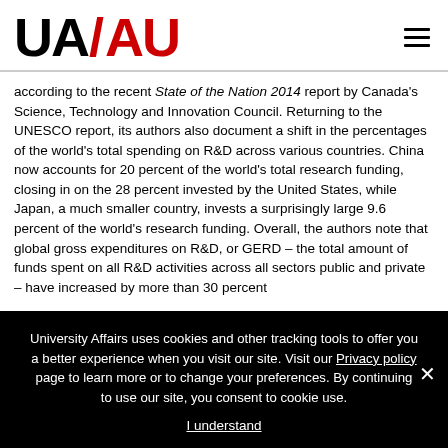UA/AU
according to the recent State of the Nation 2014 report by Canada's Science, Technology and Innovation Council. Returning to the UNESCO report, its authors also document a shift in the percentages of the world's total spending on R&D across various countries. China now accounts for 20 percent of the world's total research funding, closing in on the 28 percent invested by the United States, while Japan, a much smaller country, invests a surprisingly large 9.6 percent of the world's research funding. Overall, the authors note that global gross expenditures on R&D, or GERD – the total amount of funds spent on all R&D activities across all sectors public and private – have increased by more than 30 percent
University Affairs uses cookies and other tracking tools to offer you a better experience when you visit our site. Visit our Privacy policy page to learn more or to change your preferences. By continuing to use our site, you consent to cookie use.

I understand